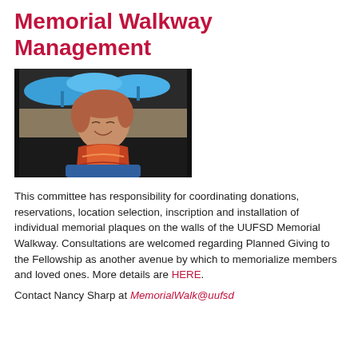Memorial Walkway Management
[Figure (photo): Portrait photo of a smiling woman with short reddish-brown hair wearing a colorful scarf, seated outdoors with blue umbrellas in background]
This committee has responsibility for coordinating donations, reservations, location selection, inscription and installation of individual memorial plaques on the walls of the UUFSD Memorial Walkway. Consultations are welcomed regarding Planned Giving to the Fellowship as another avenue by which to memorialize members and loved ones. More details are HERE.
Contact Nancy Sharp at MemorialWalk@uufsd...